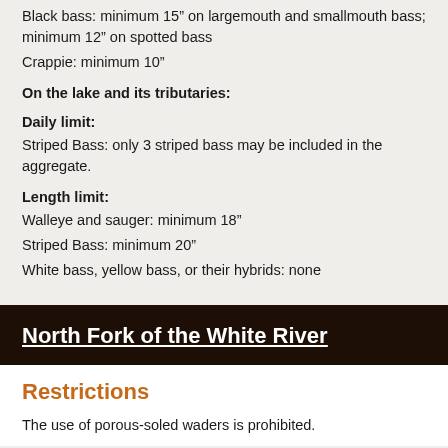Black bass: minimum 15" on largemouth and smallmouth bass; minimum 12" on spotted bass
Crappie: minimum 10"
On the lake and its tributaries:
Daily limit:
Striped Bass: only 3 striped bass may be included in the aggregate.
Length limit:
Walleye and sauger: minimum 18"
Striped Bass: minimum 20"
White bass, yellow bass, or their hybrids: none
North Fork of the White River
Restrictions
The use of porous-soled waders is prohibited.